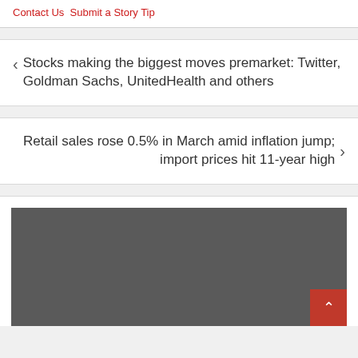Contact Us Submit a Story Tip
Stocks making the biggest moves premarket: Twitter, Goldman Sachs, UnitedHealth and others
Retail sales rose 0.5% in March amid inflation jump; import prices hit 11-year high
[Figure (photo): Dark gray image placeholder area at the bottom of the page with a red back-to-top button in the bottom right corner]